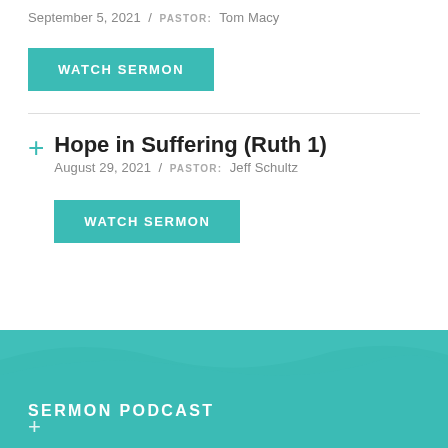September 5, 2021 / PASTOR: Tom Macy
[Figure (other): WATCH SERMON button (teal background)]
Hope in Suffering (Ruth 1)
August 29, 2021 / PASTOR: Jeff Schultz
[Figure (other): WATCH SERMON button (teal background)]
SERMON PODCAST